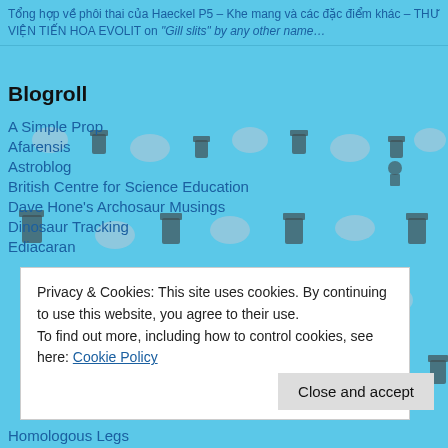Tổng hợp về phôi thai của Haeckel P5 – Khe mang và các đặc điểm khác – THƯ VIỆN TIẾN HOA EVOLIT on "Gill slits" by any other name…
[Figure (illustration): Repeating tile background of blue color with chess piece (rook/pawn) and pigeon silhouettes]
Blogroll
A Simple Prop
Afarensis
Astroblog
British Centre for Science Education
Dave Hone's Archosaur Musings
Dinosaur Tracking
Ediacaran
Privacy & Cookies: This site uses cookies. By continuing to use this website, you agree to their use.
To find out more, including how to control cookies, see here: Cookie Policy
Close and accept
Homologous Legs